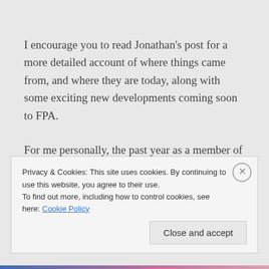I encourage you to read Jonathan's post for a more detailed account of where things came from, and where they are today, along with some exciting new developments coming soon to FPA.
For me personally, the past year as a member of FPA has certainly been an enlightening one. Though I've been writing this blog for over three years now, as far as my online presence and social media engagement¹ are
Privacy & Cookies: This site uses cookies. By continuing to use this website, you agree to their use.
To find out more, including how to control cookies, see here: Cookie Policy